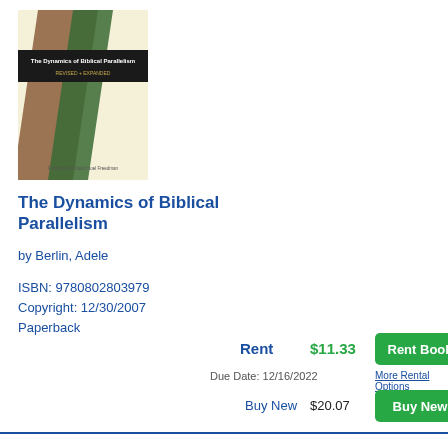[Figure (illustration): Book cover of 'The Dynamics of Biblical Parallelism' with brown and green diagonal stripes on a cream/yellow background]
The Dynamics of Biblical Parallelism
by Berlin, Adele
ISBN: 9780802803979
Copyright: 12/30/2007
Paperback
Rent  $11.33
Due Date: 12/16/2022
More Rental Options
Buy New  $20.07